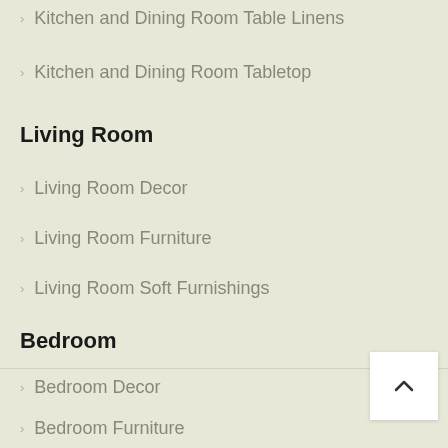Kitchen and Dining Room Table Linens
Kitchen and Dining Room Tabletop
Living Room
Living Room Decor
Living Room Furniture
Living Room Soft Furnishings
Bedroom
Bedroom Decor
Bedroom Furniture
Bedroom Sheets and Comforters